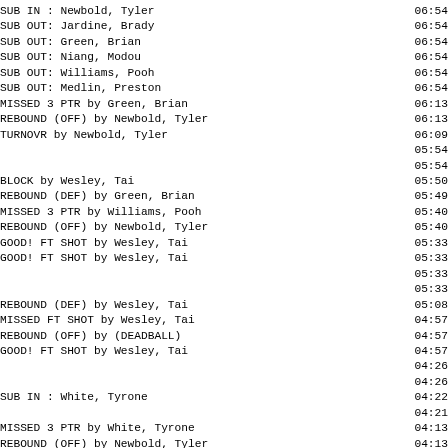| Action | Time |
| --- | --- |
| SUB IN : Newbold, Tyler | 06:54 |
| SUB OUT: Jardine, Brady | 06:54 |
| SUB OUT: Green, Brian | 06:54 |
| SUB OUT: Niang, Modou | 06:54 |
| SUB OUT: Williams, Pooh | 06:54 |
| SUB OUT: Medlin, Preston | 06:54 |
| MISSED 3 PTR by Green, Brian | 06:13 |
| REBOUND (OFF) by Newbold, Tyler | 06:13 |
| TURNOVR by Newbold, Tyler | 06:09 |
|  | 05:54 |
|  | 05:54 |
| BLOCK by Wesley, Tai | 05:50 |
| REBOUND (DEF) by Green, Brian | 05:49 |
| MISSED 3 PTR by Williams, Pooh | 05:40 |
| REBOUND (OFF) by Newbold, Tyler | 05:40 |
| GOOD! FT SHOT by Wesley, Tai | 05:33 |
| GOOD! FT SHOT by Wesley, Tai | 05:33 |
|  | 05:33 |
|  | 05:33 |
| REBOUND (DEF) by Wesley, Tai | 05:08 |
| MISSED FT SHOT by Wesley, Tai | 04:57 |
| REBOUND (OFF) by (DEADBALL) | 04:57 |
| GOOD! FT SHOT by Wesley, Tai | 04:57 |
|  | 04:26 |
|  | 04:26 |
| SUB IN : White, Tyrone | 04:22 |
|  | 04:21 |
| MISSED 3 PTR by White, Tyrone | 04:13 |
| REBOUND (OFF) by Newbold, Tyler | 04:13 |
| TURNOVR by Niang, Modou | 03:48 |